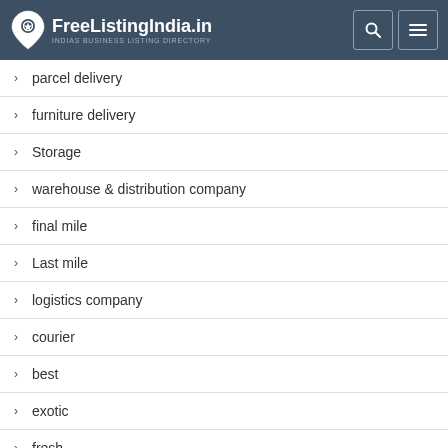FreeListingIndia.in — INDIAS BUSINESS LISTING DIRECTORY
parcel delivery
furniture delivery
Storage
warehouse & distribution company
final mile
Last mile
logistics company
courier
best
exotic
fresh